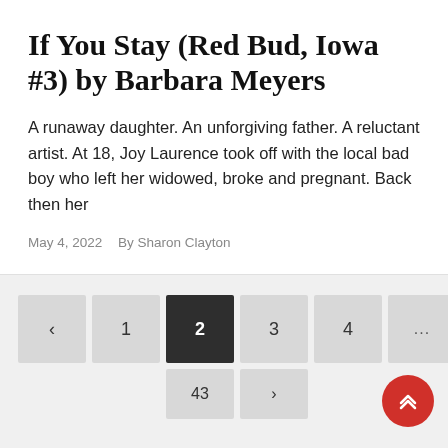If You Stay (Red Bud, Iowa #3) by Barbara Meyers
A runaway daughter. An unforgiving father. A reluctant artist. At 18, Joy Laurence took off with the local bad boy who left her widowed, broke and pregnant. Back then her
May 4, 2022   By Sharon Clayton
< 1 2 3 4 ... 43 >